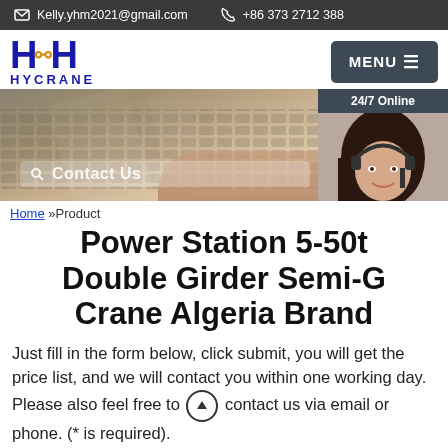Kelly.yhm2021@gmail.com   +86 373 2712 388
[Figure (logo): HYCRANE company logo with stylized H and crane hook icon]
[Figure (screenshot): Website banner with laptop keyboard background and Contact Us search bar, plus 24/7 Online chat widget with female customer service representative]
Home »Product
Power Station 5-50t Double Girder Semi-G Crane Algeria Brand
Just fill in the form below, click submit, you will get the price list, and we will contact you within one working day. Please also feel free to contact us via email or phone. (* is required).